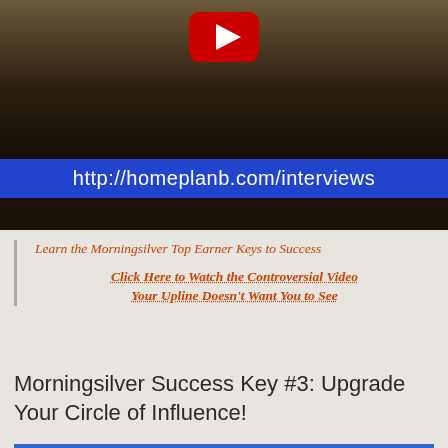[Figure (screenshot): YouTube video thumbnail showing a man's face with a blue URL bar overlay reading 'http://homeplanb.com/interviews' and a YouTube play button at top center]
Learn the Morningsilver Top Earner Keys to Success
Click Here to Watch the Controversial Video Your Upline Doesn't Want You to See
Morningsilver Success Key #3: Upgrade Your Circle of Influence!